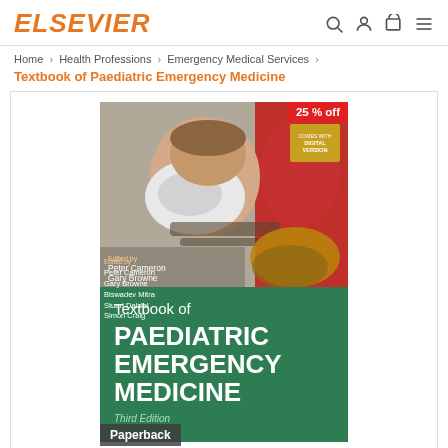ELSEVIER
Home > Health Professions > Emergency Medical Services >
Textbook of Paediatric Emergency Medicine
[Figure (photo): Book cover of Textbook of Paediatric Emergency Medicine, Third Edition. Top half shows a photo of a child receiving emergency medical treatment with a mask, with editors listed: Peter Cameron, Gary Browne, Biswadev Mitra, Stuart Dalziel, Simon Craig. Bottom half has a green background with white text: Textbook of PAEDIATRIC EMERGENCY MEDICINE, Third Edition. A red '25% off' badge is in the top right corner. A 'Paperback' label appears at the bottom left.]